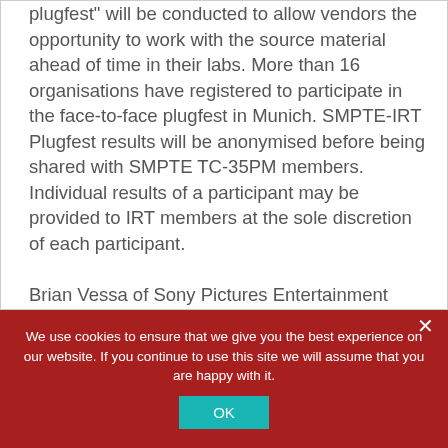plugfest" will be conducted to allow vendors the opportunity to work with the source material ahead of time in their labs. More than 16 organisations have registered to participate in the face-to-face plugfest in Munich. SMPTE-IRT Plugfest results will be anonymised before being shared with SMPTE TC-35PM members. Individual results of a participant may be provided to IRT members at the sole discretion of each participant.
Brian Vessa of Sony Pictures Entertainment
We use cookies to ensure that we give you the best experience on our website. If you continue to use this site we will assume that you are happy with it.
OK